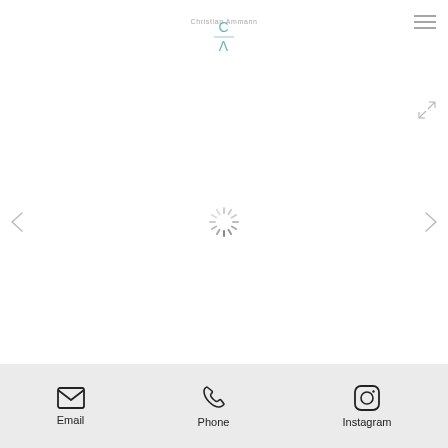Christian Ammann
[Figure (logo): CA monogram logo with C over A with a line separator, teal/green color]
[Figure (other): Hamburger menu icon (three horizontal lines) in top right corner]
[Figure (other): Expand/fullscreen icon in upper right area]
[Figure (other): Left navigation arrow]
[Figure (other): Loading spinner (radial lines) centered on page]
[Figure (other): Right navigation arrow]
Email  Phone  Instagram